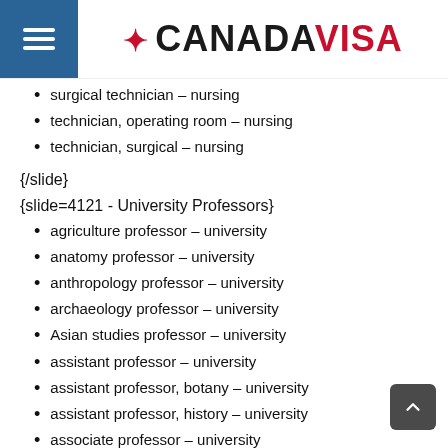CANADA VISA
surgical technician – nursing
technician, operating room – nursing
technician, surgical – nursing
{/slide}
{slide=4121 - University Professors}
agriculture professor – university
anatomy professor – university
anthropology professor – university
archaeology professor – university
Asian studies professor – university
assistant professor – university
assistant professor, botany – university
assistant professor, history – university
associate professor – university
associate professor, linguistics
astronomy professor – university
bacteriology professor – university